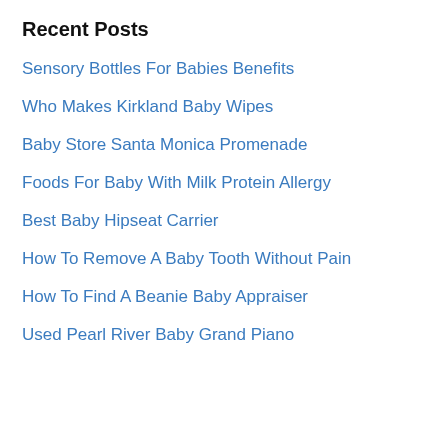Recent Posts
Sensory Bottles For Babies Benefits
Who Makes Kirkland Baby Wipes
Baby Store Santa Monica Promenade
Foods For Baby With Milk Protein Allergy
Best Baby Hipseat Carrier
How To Remove A Baby Tooth Without Pain
How To Find A Beanie Baby Appraiser
Used Pearl River Baby Grand Piano